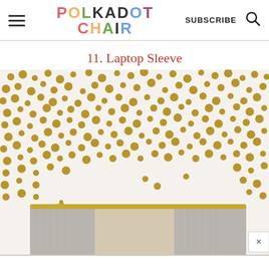Polkadot Chair | SUBSCRIBE
11. Laptop Sleeve
[Figure (photo): A laptop sleeve/bag with silver and beige fabric panels, gold zipper, displayed against a white background with scattered gold polka dots/confetti pattern. Partially cut off text 'FM' visible at the very bottom.]